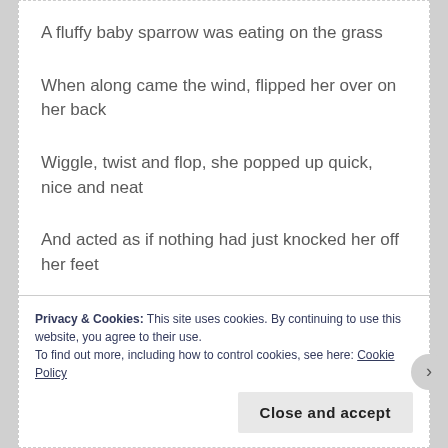A fluffy baby sparrow was eating on the grass
When along came the wind, flipped her over on her back
Wiggle, twist and flop, she popped up quick, nice and neat
And acted as if nothing had just knocked her off her feet
Privacy & Cookies: This site uses cookies. By continuing to use this website, you agree to their use.
To find out more, including how to control cookies, see here: Cookie Policy
Close and accept